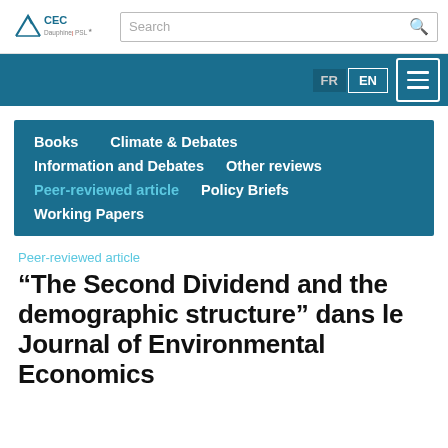[Figure (logo): CEC Dauphine PSL+ logo with arrow graphic]
Search
Books   Climate & Debates
Information and Debates   Other reviews
Peer-reviewed article   Policy Briefs
Working Papers
Peer-reviewed article
“The Second Dividend and the demographic structure” dans le Journal of Environmental Economics